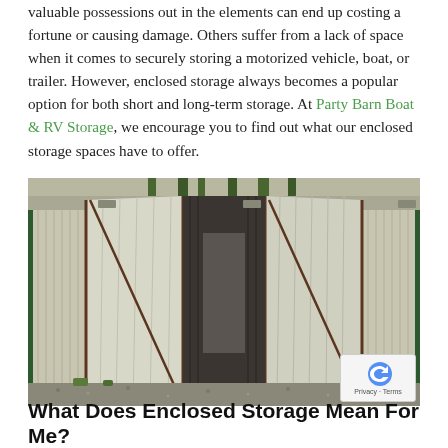valuable possessions out in the elements can end up costing a fortune or causing damage. Others suffer from a lack of space when it comes to securely storing a motorized vehicle, boat, or trailer. However, enclosed storage always becomes a popular option for both short and long-term storage. At Party Barn Boat & RV Storage, we encourage you to find out what our enclosed storage spaces have to offer.
[Figure (photo): Photograph of an open enclosed storage unit with corrugated metal walls, double doors swung open wide, showing a long dark interior.]
What Does Enclosed Storage Mean For Me?